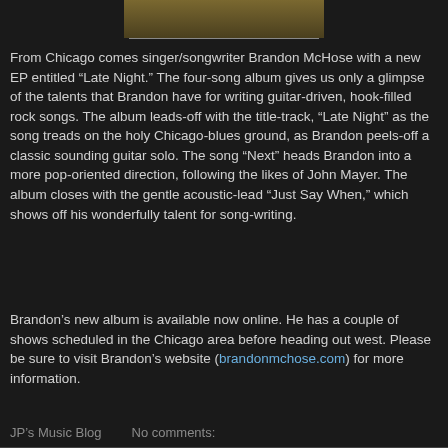[Figure (photo): Partial image of a scene at the top of the page, likely a musician or outdoor scene with brown/golden tones]
From Chicago comes singer/songwriter Brandon McHose with a new EP entitled “Late Night.” The four-song album gives us only a glimpse of the talents that Brandon have for writing guitar-driven, hook-filled rock songs. The album leads-off with the title-track, “Late Night” as the song treads on the holy Chicago-blues ground, as Brandon peels-off a classic sounding guitar solo. The song “Next” heads Brandon into a more pop-oriented direction, following the likes of John Mayer. The album closes with the gentle acoustic-lead “Just Say When,” which shows off his wonderfully talent for song-writing.
Brandon’s new album is available now online. He has a couple of shows scheduled in the Chicago area before heading out west. Please be sure to visit Brandon’s website (brandonmchose.com) for more information.
JP’s Music Blog    No comments: